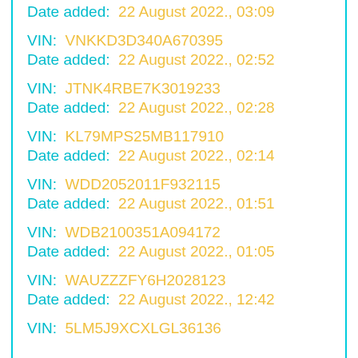VIN: [truncated]
Date added: 22 August 2022., 03:09
VIN: VNKKD3D340A670395
Date added: 22 August 2022., 02:52
VIN: JTNK4RBE7K3019233
Date added: 22 August 2022., 02:28
VIN: KL79MPS25MB117910
Date added: 22 August 2022., 02:14
VIN: WDD2052011F932115
Date added: 22 August 2022., 01:51
VIN: WDB2100351A094172
Date added: 22 August 2022., 01:05
VIN: WAUZZZFY6H2028123
Date added: 22 August 2022., 12:42
VIN: 5LM5J9XCXLGL36136